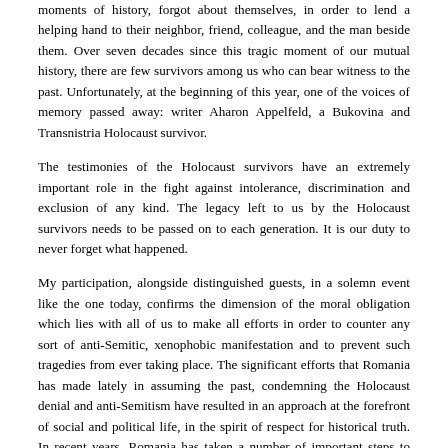moments of history, forgot about themselves, in order to lend a helping hand to their neighbor, friend, colleague, and the man beside them. Over seven decades since this tragic moment of our mutual history, there are few survivors among us who can bear witness to the past. Unfortunately, at the beginning of this year, one of the voices of memory passed away: writer Aharon Appelfeld, a Bukovina and Transnistria Holocaust survivor.
The testimonies of the Holocaust survivors have an extremely important role in the fight against intolerance, discrimination and exclusion of any kind. The legacy left to us by the Holocaust survivors needs to be passed on to each generation. It is our duty to never forget what happened.
My participation, alongside distinguished guests, in a solemn event like the one today, confirms the dimension of the moral obligation which lies with all of us to make all efforts in order to counter any sort of anti-Semitic, xenophobic manifestation and to prevent such tragedies from ever taking place. The significant efforts that Romania has made lately in assuming the past, condemning the Holocaust denial and anti-Semitism have resulted in an approach at the forefront of social and political life, in the spirit of respect for historical truth. In recent years, Romania has taken a number of important steps to support the Holocaust study so that younger generations discover the truth about this dramatic page of history. I would like to emphasize that the Romanian legislation has very clear provisions, condemning the denial of the Holocaust and incitement to anti-Semitism. In June 2018, the Romanian Parliament passed a special law on combating anti-Semitism. Thus, anti-Semitism was defined in terms used by the International Holocaust Memory Alliance. The adoption of this law is Romania's commitment to the fight against antisemitism and any manifestations of racism, xenophobia, racial discrimination and intolerance. In the same line, the Romanian Government supports the strengthening of the efforts to include in curricula the issues related to the